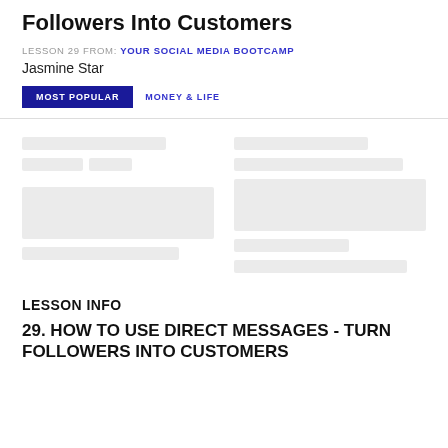Followers Into Customers
LESSON 29 FROM: YOUR SOCIAL MEDIA BOOTCAMP
Jasmine Star
MOST POPULAR   MONEY & LIFE
[Figure (other): Skeleton loading placeholder with gray blocks arranged in two columns representing loading content cards]
LESSON INFO
29. HOW TO USE DIRECT MESSAGES - TURN FOLLOWERS INTO CUSTOMERS